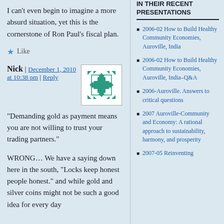I can’t even begin to imagine a more absurd situation, yet this is the cornerstone of Ron Paul’s fiscal plan.
★ Like
Nick | December 1, 2010 at 10:38 pm | Reply
[Figure (illustration): Small decorative avatar image with a green geometric/floral tile pattern on white background with a thin border]
“Demanding gold as payment means you are not willing to trust your trading partners.”
WRONG… We have a saying down here in the south, “Locks keep honest people honest.” and while gold and silver coins might not be such a good idea for every day
PRESENTATIONS
2006-02 How to Build Healthy Community Economies, Auroville, India
2006-02 How to Build Healthy Community Economies, Auroville, India–Q&A
2006-Auroville. Answers to critical questions
2007 Auroville-Community and Economy: A rational approach to sustainability, harmony, and prosperity
2007-05 Reinventing